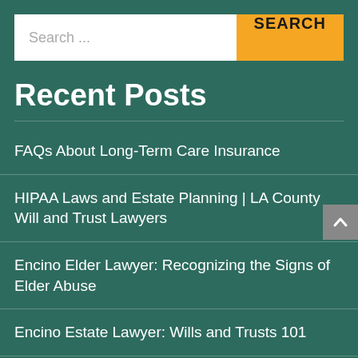[Figure (screenshot): Search bar with text input field showing 'Search ...' placeholder and an orange 'SEARCH' button]
Recent Posts
FAQs About Long-Term Care Insurance
HIPAA Laws and Estate Planning | LA County Will and Trust Lawyers
Encino Elder Lawyer: Recognizing the Signs of Elder Abuse
Encino Estate Lawyer: Wills and Trusts 101
Wait! Before You Agree to Serve as Someone's Executor… | Encino Probate